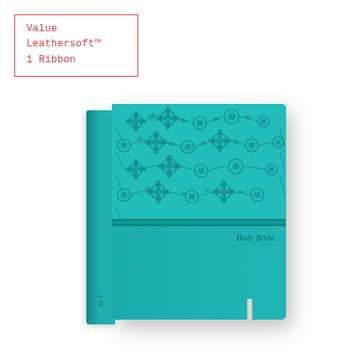Value Leathersoft™
1 Ribbon
[Figure (photo): A teal/turquoise Holy Bible with Value Leathersoft cover and floral embossed pattern on the top half. The lower half is plain leathersoft material with 'Holy Bible' text in script. A silver ribbon bookmark is visible at the bottom. The book is shown at a slight angle with the spine visible on the left.]